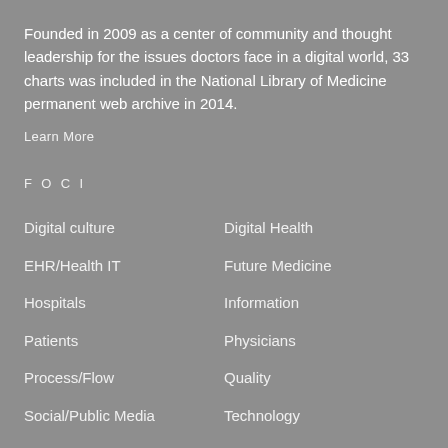Founded in 2009 as a center of community and thought leadership for the issues doctors face in a digital world, 33 charts was included in the National Library of Medicine permanent web archive in 2014.
Learn More
FOCI
Digital culture
Digital Health
EHR/Health IT
Future Medicine
Hospitals
Information
Patients
Physicians
Process/Flow
Quality
Social/Public Media
Technology